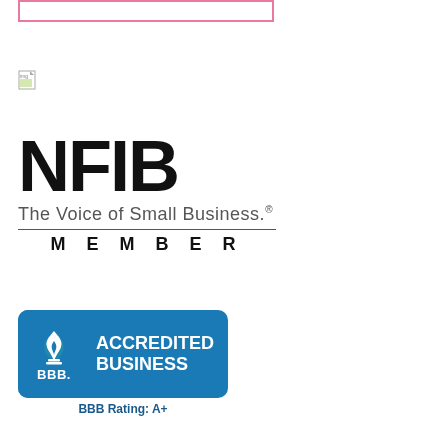[Figure (other): Pink outlined rectangle box at top of page]
[Figure (other): Broken/missing image icon (small document with green corner)]
[Figure (logo): NFIB logo - The Voice of Small Business. MEMBER]
[Figure (logo): BBB Accredited Business badge with BBB Rating: A+]